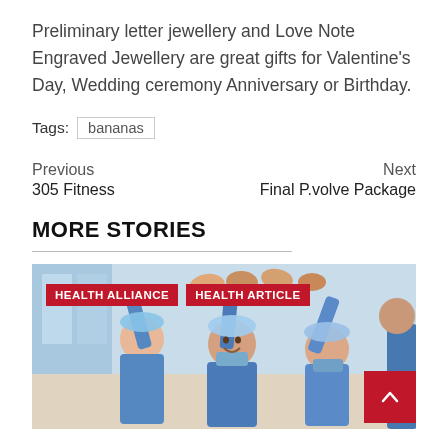Preliminary letter jewellery and Love Note Engraved Jewellery are great gifts for Valentine's Day, Wedding ceremony Anniversary or Birthday.
Tags: bananas
Previous
305 Fitness
Next
Final P.volve Package
MORE STORIES
[Figure (photo): Medical team members in blue scrubs and surgical caps high-fiving together, overlaid with red category labels 'HEALTH ALLIANCE' and 'HEALTH ARTICLE']